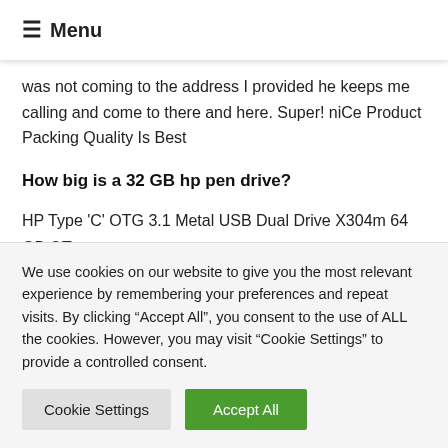≡ Menu
was not coming to the address I provided he keeps me calling and come to there and here. Super! niCe Product Packing Quality Is Best
How big is a 32 GB hp pen drive?
HP Type 'C' OTG 3.1 Metal USB Dual Drive X304m 64 GB OT...
HP Type 'C' OTG 3.1 Metal USB Dual Drive X304m 32 GB OT...
Did you find what you were looking for?
We use cookies on our website to give you the most relevant experience by remembering your preferences and repeat visits. By clicking "Accept All", you consent to the use of ALL the cookies. However, you may visit "Cookie Settings" to provide a controlled consent.